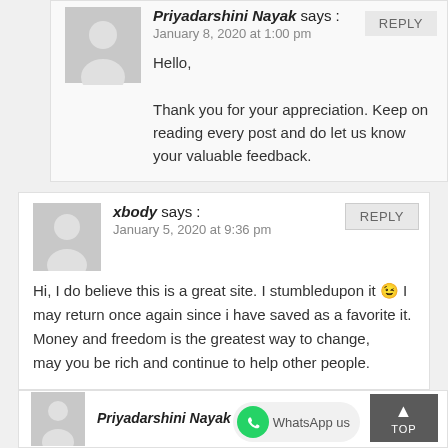Priyadarshini Nayak says : January 8, 2020 at 1:00 pm
Hello,

Thank you for your appreciation. Keep on reading every post and do let us know your valuable feedback.
xbody says : January 5, 2020 at 9:36 pm
Hi, I do believe this is a great site. I stumbledupon it 😉 I may return once again since i have saved as a favorite it. Money and freedom is the greatest way to change, may you be rich and continue to help other people.
Priyadarshini Nayak sa...